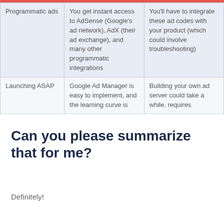|  | Google Ad Manager | Custom Ad Server |
| --- | --- | --- |
| Programmatic ads | You get instant access to AdSense (Google's ad network), AdX (their ad exchange), and many other programmatic integrations | You'll have to integrate these ad codes with your product (which could involve troubleshooting) |
| Launching ASAP | Google Ad Manager is easy to implement, and the learning curve is | Building your own ad server could take a while, requires |
Can you please summarize that for me?
Definitely!